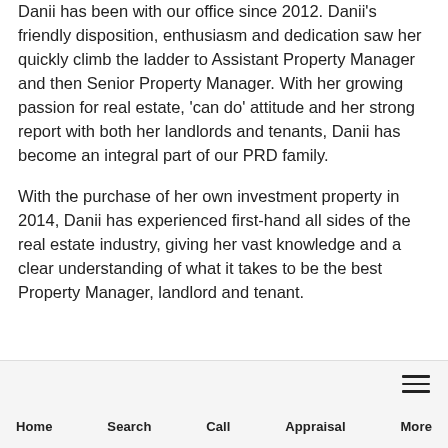Danii has been with our office since 2012. Danii's friendly disposition, enthusiasm and dedication saw her quickly climb the ladder to Assistant Property Manager and then Senior Property Manager. With her growing passion for real estate, 'can do' attitude and her strong report with both her landlords and tenants, Danii has become an integral part of our PRD family.
With the purchase of her own investment property in 2014, Danii has experienced first-hand all sides of the real estate industry, giving her vast knowledge and a clear understanding of what it takes to be the best Property Manager, landlord and tenant.
Home   Search   Call   Appraisal   More